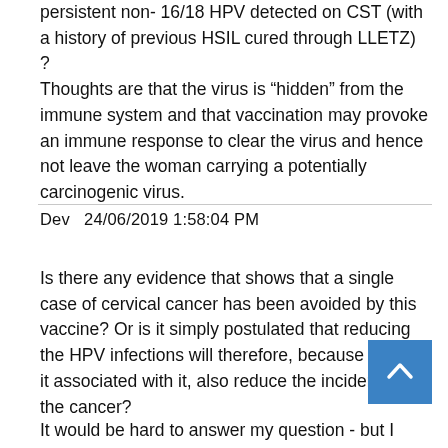persistent non- 16/18 HPV detected on CST (with a history of previous HSIL cured through LLETZ) ? Thoughts are that the virus is “hidden” from the immune system and that vaccination may provoke an immune response to clear the virus and hence not leave the woman carrying a potentially carcinogenic virus.
Dev  24/06/2019 1:58:04 PM
Is there any evidence that shows that a single case of cervical cancer has been avoided by this vaccine? Or is it simply postulated that reducing the HPV infections will therefore, because cancer it associated with it, also reduce the incidence of the cancer?
It would be hard to answer my question - but I believe this particular vaccine has doubtful value...